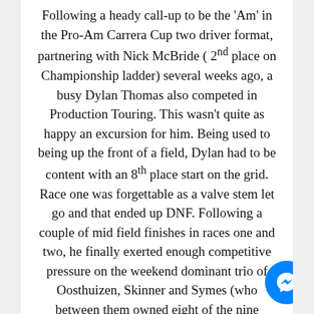Following a heady call-up to be the 'Am' in the Pro-Am Carrera Cup two driver format, partnering with Nick McBride ( 2nd place on Championship ladder) several weeks ago, a busy Dylan Thomas also competed in Production Touring. This wasn't quite as happy an excursion for him. Being used to being up the front of a field, Dylan had to be content with an 8th place start on the grid. Race one was forgettable as a valve stem let go and that ended up DNF. Following a couple of mid field finishes in races one and two, he finally exerted enough competitive pressure on the weekend dominant trio of Oosthuizen, Skinner and Symes (who between them owned eight of the nine available podium places) to take the final weekend top podium spot.